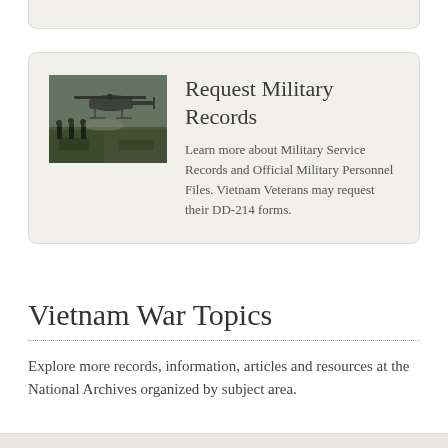[Figure (photo): Vietnam War era photograph showing a military helicopter (likely a UH-1 Huey) with soldiers in a field setting]
Request Military Records
Learn more about Military Service Records and Official Military Personnel Files. Vietnam Veterans may request their DD-214 forms.
Vietnam War Topics
Explore more records, information, articles and resources at the National Archives organized by subject area.